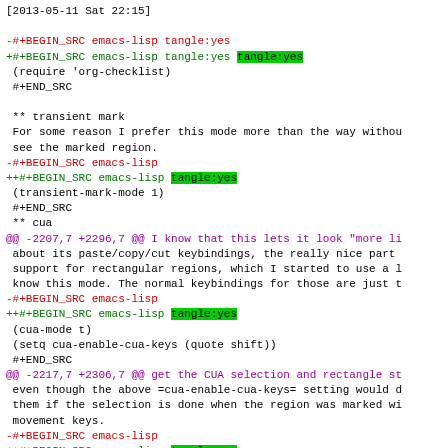[2013-05-11 Sat 22:15]
-#+BEGIN_SRC emacs-lisp tangle:yes
+#+BEGIN_SRC emacs-lisp tangle:yes tangle:yes
 (require 'org-checklist)
 #+END_SRC
 ** transient mark
 For some reason I prefer this mode more than the way withou
 see the marked region.
-#+BEGIN_SRC emacs-lisp
++#+BEGIN_SRC emacs-lisp tangle:yes
 (transient-mark-mode 1)
 #+END_SRC
 ** cua
@@ -2207,7 +2296,7 @@ I know that this lets it look "more li
 about its paste/copy/cut keybindings, the really nice part
 support for rectangular regions, which I started to use a l
 know this mode. The normal keybindings for those are just t
-#+BEGIN_SRC emacs-lisp
++#+BEGIN_SRC emacs-lisp tangle:yes
 (cua-mode t)
 (setq cua-enable-cua-keys (quote shift))
 #+END_SRC
@@ -2217,7 +2306,7 @@ get the CUA selection and rectangle st
 even though the above =cua-enable-cua-keys= setting would d
 them if the selection is done when the region was marked wi
 movement keys.
-#+BEGIN_SRC emacs-lisp
++#+BEGIN_SRC emacs-lisp tangle:yes
 (cua-selection-mode t)
 #+END_SRC